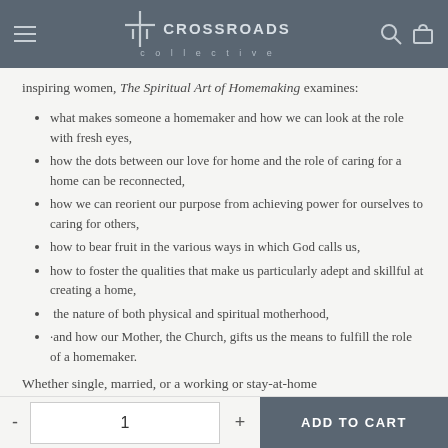[Figure (logo): Crossroads Collective logo with cross symbol on dark teal header bar with menu icon and search/cart icons]
inspiring women, The Spiritual Art of Homemaking examines:
what makes someone a homemaker and how we can look at the role with fresh eyes,
how the dots between our love for home and the role of caring for a home can be reconnected,
how we can reorient our purpose from achieving power for ourselves to caring for others,
how to bear fruit in the various ways in which God calls us,
how to foster the qualities that make us particularly adept and skillful at creating a home,
the nature of both physical and spiritual motherhood,
·and how our Mother, the Church, gifts us the means to fulfill the role of a homemaker.
Whether single, married, or a working or stay-at-home